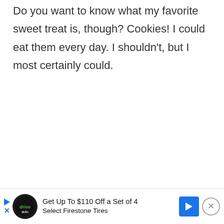Do you want to know what my favorite sweet treat is, though? Cookies! I could eat them every day. I shouldn't, but I most certainly could.
These Healthy Almond Butter Coconut Chocolate Chip Cookies are healthy enough to eat almost everyday.
What makes these cookies just a little healthier than the rest? I'm so glad you asked...
[Figure (other): Advertisement banner: Get Up To $110 Off a Set of 4 Select Firestone Tires with DriveAuto logo and blue arrow icon, close button]